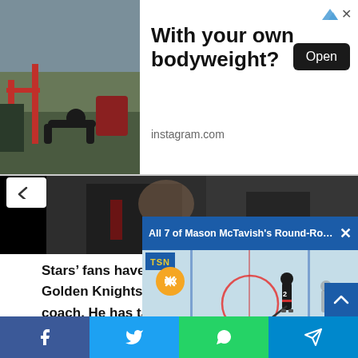[Figure (screenshot): Advertisement banner with a photo of someone doing push-ups outdoors, text 'With your own bodyweight?', an Open button, and instagram.com source label. Small ad attribution icons top right.]
[Figure (photo): Partial article hero image showing a person in a dark jacket, blurred face, cropped across top of article content area.]
Stars’ fans have seen the success that the Golden Knights have had with DeBoer as head coach. He has taken the Knights twice to the Western Conference Finals b… playoffs which is re…
[Figure (screenshot): Video popup overlay bar reading 'All 7 of Mason McTavish’s Round-Robin …' with a close X button, over a hockey rink video with TSN logo, a muted speaker icon (orange circle), and a hockey player skating.]
I think what scares … handled the goalte… Robin Lehner and l…
[Figure (screenshot): Bottom social share bar with four buttons: Facebook (blue), Twitter (light blue), WhatsApp (green), Telegram (blue).]